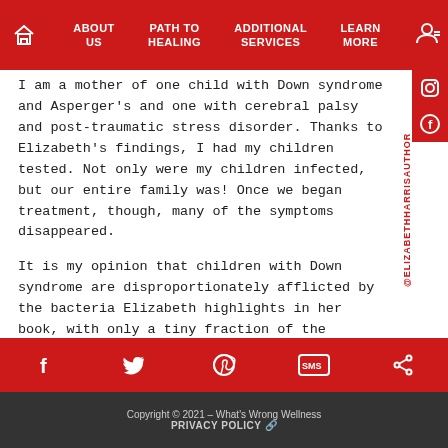ABOUT US | PATH TO HEALING | ADDITIONAL SERVICES | LEARN MORE
I am a mother of one child with Down syndrome and Asperger's and one with cerebral palsy and post-traumatic stress disorder. Thanks to Elizabeth's findings, I had my children tested. Not only were my children infected, but our entire family was! Once we began treatment, though, many of the symptoms disappeared.
It is my opinion that children with Down syndrome are disproportionately afflicted by the bacteria Elizabeth highlights in her book, with only a tiny fraction of the parents being aware of the situation. This may be the root of severe behavior problems, obsessive-compulsive disorder, and why your child might not be talking. Scary as it may sound, there are answers. Elizabeth has spent countless hours ferreting out the facts for us.
Copyright © 2021 – What's Wrong Wellness
PRIVACY POLICY